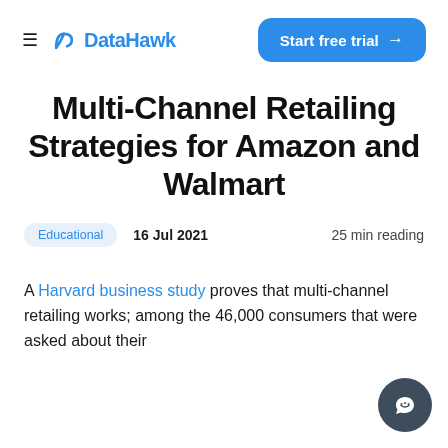DataHawk | Start free trial →
Multi-Channel Retailing Strategies for Amazon and Walmart
Educational  16 Jul 2021  25 min reading
A Harvard business study proves that multi-channel retailing works; among the 46,000 consumers that were asked about their...